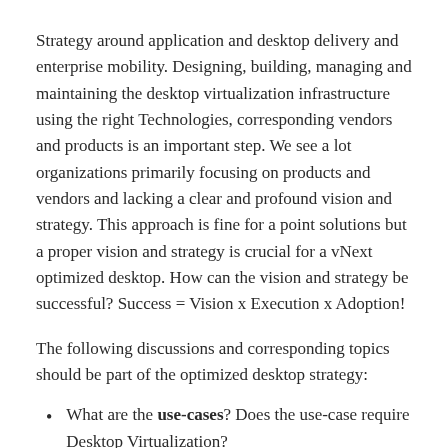Strategy around application and desktop delivery and enterprise mobility. Designing, building, managing and maintaining the desktop virtualization infrastructure using the right Technologies, corresponding vendors and products is an important step. We see a lot organizations primarily focusing on products and vendors and lacking a clear and profound vision and strategy. This approach is fine for a point solutions but a proper vision and strategy is crucial for a vNext optimized desktop. How can the vision and strategy be successful? Success = Vision x Execution x Adoption!
The following discussions and corresponding topics should be part of the optimized desktop strategy:
What are the use-cases? Does the use-case require Desktop Virtualization?
VD-why, what do you want to achieve, a business